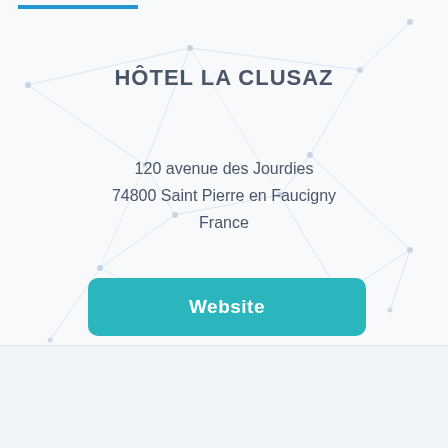[Figure (illustration): Network/polygon geometric background pattern with nodes and edges in light gray/blue]
HÔTEL LA CLUSAZ
120 avenue des Jourdies
74800 Saint Pierre en Faucigny
France
Website
[Figure (photo): Photograph of a hotel building with blue sky background, lower portion of page]